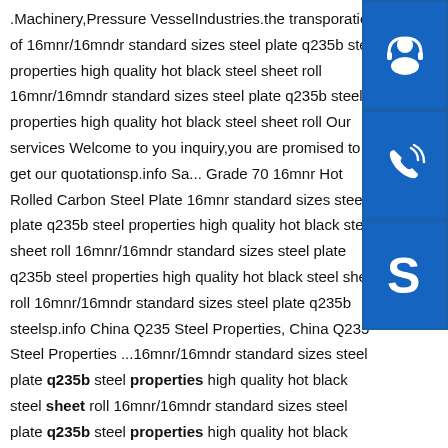.Machinery,Pressure VesselIndustries.the transporation of 16mnr/16mndr standard sizes steel plate q235b steel properties high quality hot black steel sheet roll 16mnr/16mndr standard sizes steel plate q235b steel properties high quality hot black steel sheet roll Our services Welcome to your inquiry,you are promised to get our quotationsp.info Sa... Grade 70 16mnr Hot Rolled Carbon Steel Plate 16mnr standard sizes steel plate q235b steel properties high quality hot black steel sheet roll 16mnr/16mndr standard sizes steel plate q235b steel properties high quality hot black steel sheet roll 16mnr/16mndr standard sizes steel plate q235b steelsp.info China Q235 Steel Properties, China Q235 Steel Properties ...16mnr/16mndr standard sizes steel plate q235b steel properties high quality hot black steel sheet roll 16mnr/16mndr standard sizes steel plate q235b steel properties high quality hot black steel sheet roll
[Figure (illustration): Three blue square icon buttons stacked vertically on the right side: a headset/customer service icon, a phone/call icon, and a Skype icon]